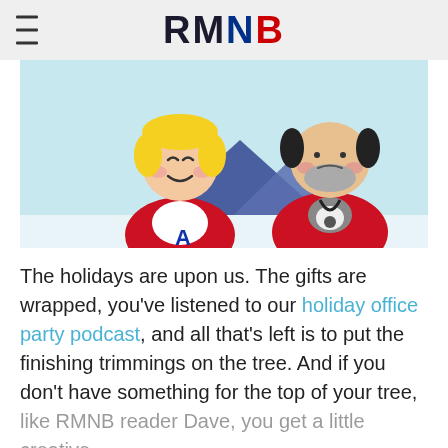RMNB
[Figure (illustration): Cartoon illustration of two hockey characters in red Montreal Canadiens jerseys against a light blue background. Left character is a blonde child/player with closed eyes smiling, wearing a red jersey with 'A' patch. Right character is an older man with grey beard and whistle around neck, wearing a red coaching jacket.]
The holidays are upon us. The gifts are wrapped, you've listened to our holiday office party podcast, and all that's left is to put the finishing trimmings on the tree. And if you don't have something for the top of your tree, like RMNB reader Dave, you get a little creative.